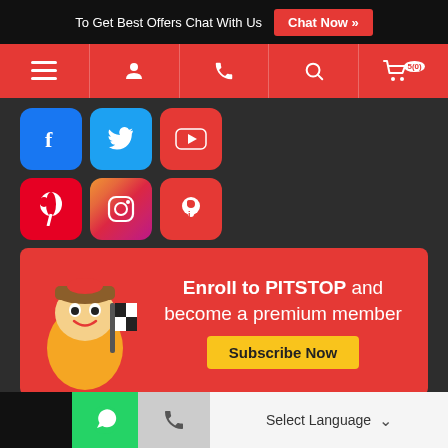To Get Best Offers Chat With Us  Chat Now »
[Figure (screenshot): Red navigation bar with hamburger menu, user, phone, search, and cart icons]
[Figure (screenshot): Social media icons: Facebook, Twitter, YouTube (top row), Pinterest, Instagram, Chat (bottom row)]
[Figure (infographic): Enroll to PITSTOP and become a premium member - Subscribe Now banner with mascot]
ELEGANT STUDIOS ▶
ELEGANT MINI STUDIOS ▶
Chat with us
WhatsApp | Phone | Select Language